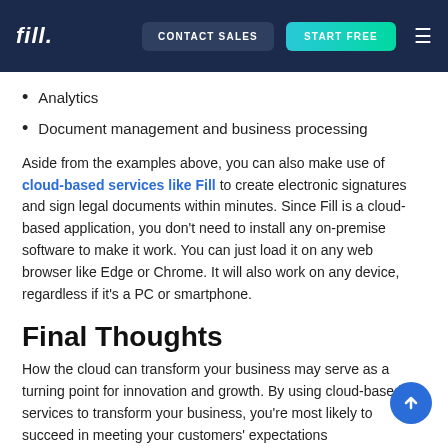fill. | CONTACT SALES | START FREE
Analytics
Document management and business processing
Aside from the examples above, you can also make use of cloud-based services like Fill to create electronic signatures and sign legal documents within minutes. Since Fill is a cloud-based application, you don't need to install any on-premise software to make it work. You can just load it on any web browser like Edge or Chrome. It will also work on any device, regardless if it's a PC or smartphone.
Final Thoughts
How the cloud can transform your business may serve as a turning point for innovation and growth. By using cloud-based services to transform your business, you're most likely to succeed in meeting your customers' expectations